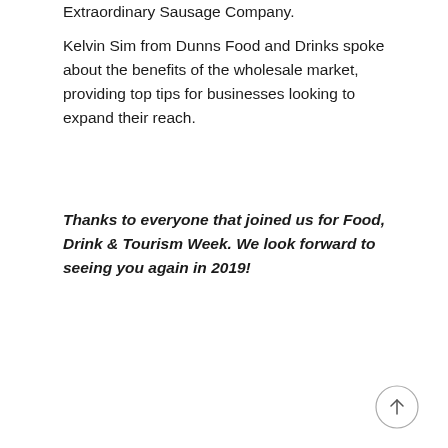Extraordinary Sausage Company.
Kelvin Sim from Dunns Food and Drinks spoke about the benefits of the wholesale market, providing top tips for businesses looking to expand their reach.
Thanks to everyone that joined us for Food, Drink & Tourism Week. We look forward to seeing you again in 2019!